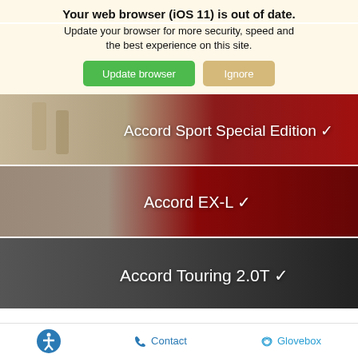Your web browser (iOS 11) is out of date.
Update your browser for more security, speed and the best experience on this site.
[Figure (screenshot): Green 'Update browser' button and tan 'Ignore' button]
[Figure (photo): Honda Accord Sport Special Edition – red car with people in background, white text overlay with chevron]
[Figure (photo): Honda Accord EX-L – red car front closeup, white text overlay with chevron]
[Figure (photo): Honda Accord Touring 2.0T – dark background with car, white text overlay with chevron]
Disclaimer
* Based on EPA mileage ratings. Use for comparison purposes only. Your mileage will vary depending on driving conditions, how you drive and
Contact   Glovebox